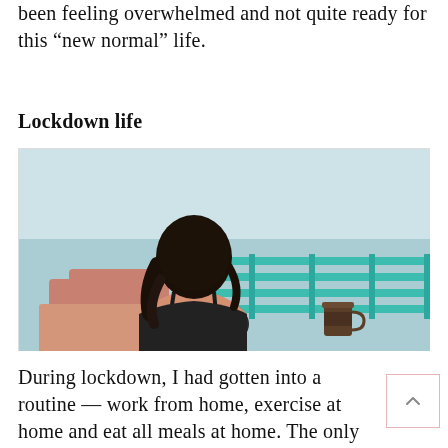been feeling overwhelmed and not quite ready for this “new normal” life.
Lockdown life
[Figure (photo): A woman seen from behind sitting in a terracotta/peach colored chair, with dark hair, wearing a black top, looking out toward a teal/turquoise railing with light blue sky and water in the background. A coffee cup sits on a ledge to the right.]
During lockdown, I had gotten into a routine — work from home, exercise at home and eat all meals at home. The only travel I did was to walk around